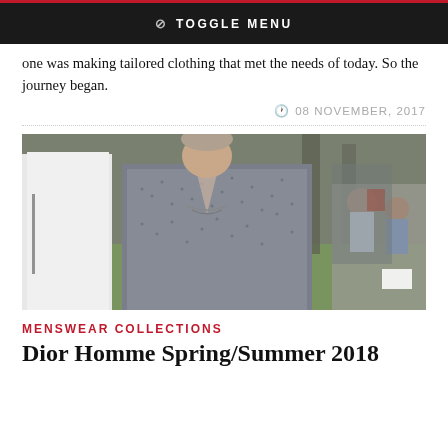TOGGLE MENU
one was making tailored clothing that met the needs of today. So the journey began.
08 NOVEMBER, 2017
[Figure (photo): Fashion runway photo showing a male model in a grey patterned jacket with a deep V-neckline and chain necklace, walking on a green grass runway. Other models and seated audience visible in background.]
MENSWEAR COLLECTIONS
Dior Homme Spring/Summer 2018